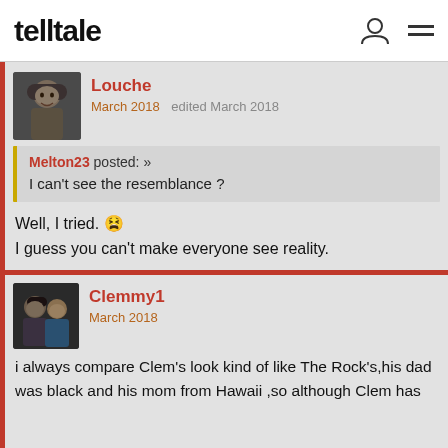telltale
Louche
March 2018  edited March 2018
Melton23 posted: »
I can't see the resemblance ?
Well, I tried. 😫
I guess you can't make everyone see reality.
Clemmy1
March 2018
i always compare Clem's look kind of like The Rock's,his dad was black and his mom from Hawaii ,so although Clem has